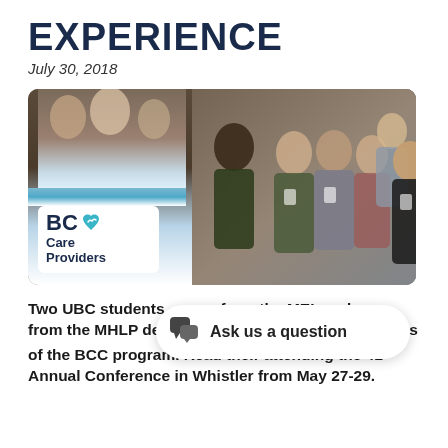EXPERIENCE
July 30, 2018
[Figure (photo): Group photo of six people standing in front of a BC Care Providers banner at a conference venue. The banner shows the BC Care Providers logo with a blue heart icon.]
Two UBC students — one from the MEL and one from the MHLP degree — were selected as recipients of the BCC program. Read their attending the 41st Annual Conference in Whistler from May 27-29.